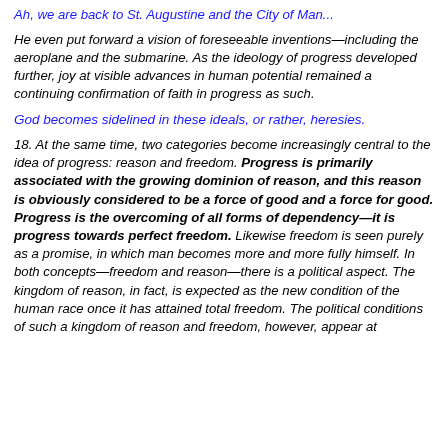Ah, we are back to St. Augustine and the City of Man...
He even put forward a vision of foreseeable inventions—including the aeroplane and the submarine. As the ideology of progress developed further, joy at visible advances in human potential remained a continuing confirmation of faith in progress as such.
God becomes sidelined in these ideals, or rather, heresies.
18. At the same time, two categories become increasingly central to the idea of progress: reason and freedom. Progress is primarily associated with the growing dominion of reason, and this reason is obviously considered to be a force of good and a force for good. Progress is the overcoming of all forms of dependency—it is progress towards perfect freedom. Likewise freedom is seen purely as a promise, in which man becomes more and more fully himself. In both concepts—freedom and reason—there is a political aspect. The kingdom of reason, in fact, is expected as the new condition of the human race once it has attained total freedom. The political conditions of such a kingdom of reason and freedom, however, appear at